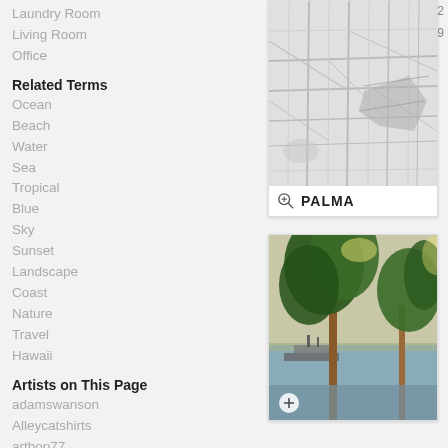Laundry Room
Living Room
Office
Related Terms
Ocean
Beach
Water
Sea
Tropical
Blue
Sky
Sunset
Landscape
Coast
Nature
Travel
Hawaii
Artists on This Page
adamswanson
Alleycatshirts
arthop77
dandistudio
davecatts
[Figure (map): City map of Palma with street network, labeled PALMA at bottom with zoom icon]
from $ 12
[Figure (photo): Photograph of trees near water with a boat/ship visible in the background, plus/zoom icon at bottom left]
from $ 19